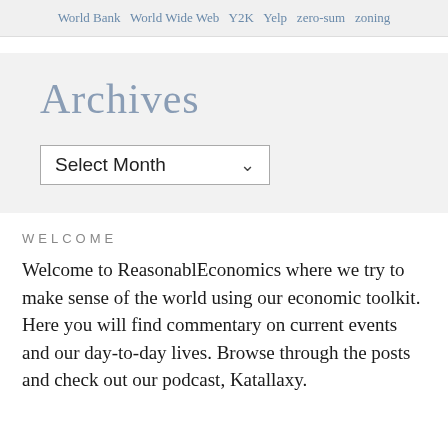World Bank  World Wide Web  Y2K  Yelp  zero-sum  zoning
Archives
Select Month
WELCOME
Welcome to ReasonablEconomics where we try to make sense of the world using our economic toolkit. Here you will find commentary on current events and our day-to-day lives. Browse through the posts and check out our podcast, Katallaxy.